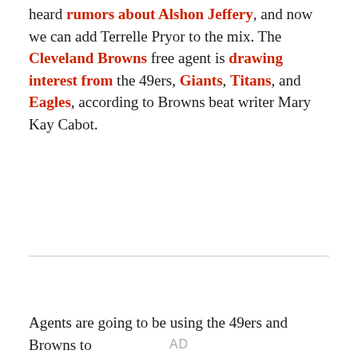heard rumors about Alshon Jeffery, and now we can add Terrelle Pryor to the mix. The Cleveland Browns free agent is drawing interest from the 49ers, Giants, Titans, and Eagles, according to Browns beat writer Mary Kay Cabot.
[Figure (other): Advertisement placeholder labeled AD]
Agents are going to be using the 49ers and Browns to